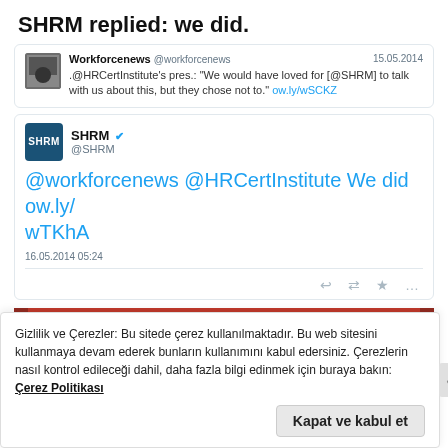SHRM replied: we did.
[Figure (screenshot): Embedded tweet from @workforcenews dated 15.05.2014: .@HRCertInstitute's pres.: 'We would have loved for [@SHRM] to talk with us about this, but they chose not to.' ow.ly/wSCKZ]
[Figure (screenshot): SHRM verified Twitter account tweet: '@workforcenews @HRCertInstitute We did ow.ly/wTKhA' dated 16.05.2014 05:24, with reply, retweet, like, and more action icons.]
[Figure (screenshot): Red banner with 'Start reading' button in italic black box]
Gizlilik ve Çerezler: Bu sitede çerez kullanılmaktadır. Bu web sitesini kullanmaya devam ederek bunların kullanımını kabul edersiniz. Çerezlerin nasıl kontrol edileceği dahil, daha fazla bilgi edinmek için buraya bakın: Çerez Politikası
Kapat ve kabul et